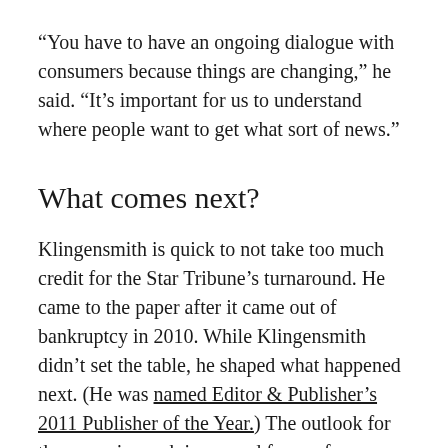“You have to have an ongoing dialogue with consumers because things are changing,” he said. “It’s important for us to understand where people want to get what sort of news.”
What comes next?
Klingensmith is quick to not take too much credit for the Star Tribune’s turnaround. He came to the paper after it came out of bankruptcy in 2010. While Klingensmith didn’t set the table, he shaped what happened next. (He was named Editor & Publisher’s 2011 Publisher of the Year.) The outlook for the paper is much improved from a few years ago